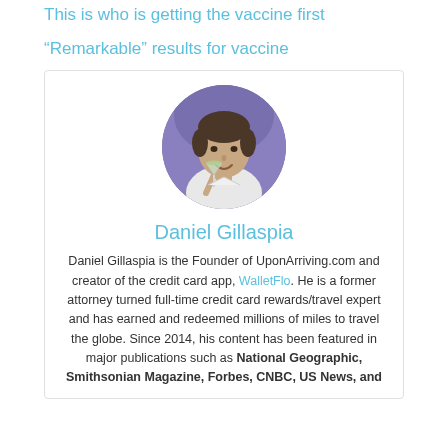This is who is getting the vaccine first
“Remarkable” results for vaccine
[Figure (photo): Circular profile photo of Daniel Gillaspia, a man holding a cocktail glass]
Daniel Gillaspia
Daniel Gillaspia is the Founder of UponArriving.com and creator of the credit card app, WalletFlo. He is a former attorney turned full-time credit card rewards/travel expert and has earned and redeemed millions of miles to travel the globe. Since 2014, his content has been featured in major publications such as National Geographic, Smithsonian Magazine, Forbes, CNBC, US News, and